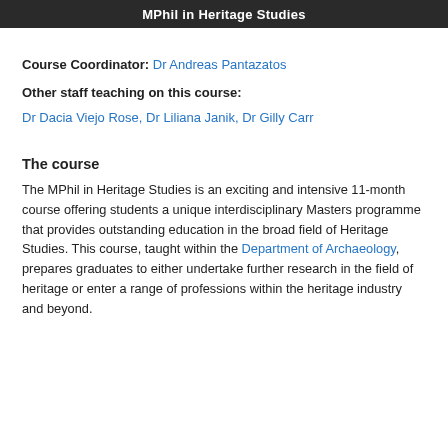MPhil in Heritage Studies
Course Coordinator: Dr Andreas Pantazatos
Other staff teaching on this course:
Dr Dacia Viejo Rose, Dr Liliana Janik, Dr Gilly Carr
The course
The MPhil in Heritage Studies is an exciting and intensive 11-month course offering students a unique interdisciplinary Masters programme that provides outstanding education in the broad field of Heritage Studies. This course, taught within the Department of Archaeology, prepares graduates to either undertake further research in the field of heritage or enter a range of professions within the heritage industry and beyond.